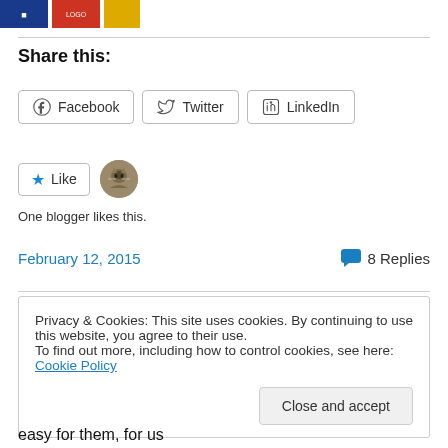[Figure (photo): Partial view of colorful book/game covers at the top of the page]
Share this:
[Figure (screenshot): Social sharing buttons: Facebook, Twitter, LinkedIn]
[Figure (screenshot): Like button with star icon and blogger avatar thumbnail]
One blogger likes this.
February 12, 2015    💬 8 Replies
Privacy & Cookies: This site uses cookies. By continuing to use this website, you agree to their use. To find out more, including how to control cookies, see here: Cookie Policy
easy for them, for us